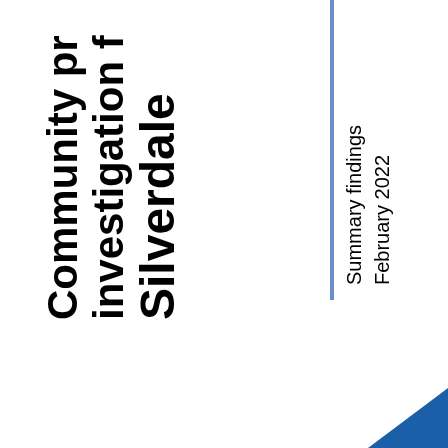Community pr investigation f Silverdale
Summary findings February 2022